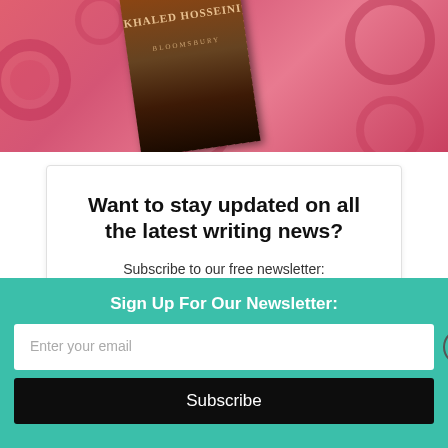[Figure (photo): Book cover by Khaled Hosseini (Bloomsbury) lying on a pink floral fabric background, partially visible at top of page]
Want to stay updated on all the latest writing news?
Subscribe to our free newsletter:
Enter your email
Sign Up For Our Newsletter:
Enter your email
Subscribe